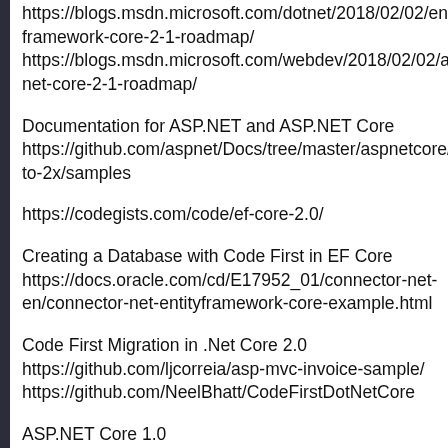https://blogs.msdn.microsoft.com/dotnet/2018/02/02/entity-framework-core-2-1-roadmap/
https://blogs.msdn.microsoft.com/webdev/2018/02/02/asp-net-core-2-1-roadmap/
Documentation for ASP.NET and ASP.NET Core
https://github.com/aspnet/Docs/tree/master/aspnetcore/migration/1x-to-2x/samples
https://codegists.com/code/ef-core-2.0/
Creating a Database with Code First in EF Core
https://docs.oracle.com/cd/E17952_01/connector-net-en/connector-net-entityframework-core-example.html
Code First Migration in .Net Core 2.0
https://github.com/ljcorreia/asp-mvc-invoice-sample/
https://github.com/NeelBhatt/CodeFirstDotNetCore
ASP.NET Core 1.0
https://rajeeshmenoth.wordpress.com/2017/02/20/code-first-migration-asp-net-core-mvc-6-with-ef-core/